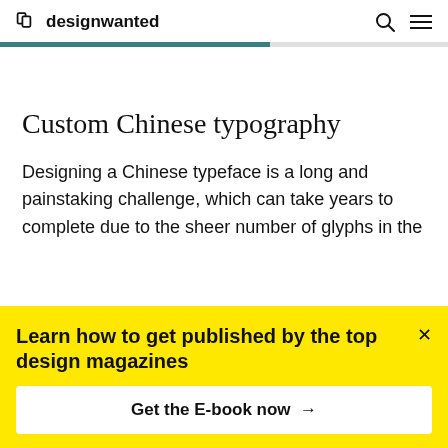designwanted
[Figure (other): Teal/green progress bar below the header navigation]
Custom Chinese typography
Designing a Chinese typeface is a long and painstaking challenge, which can take years to complete due to the sheer number of glyphs in the
Learn how to get published by the top design magazines
Get the E-book now →